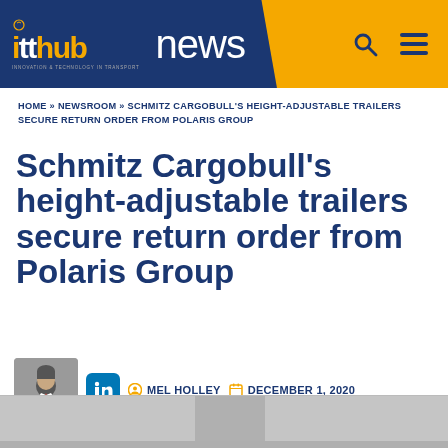itthub news
HOME » NEWSROOM » SCHMITZ CARGOBULL'S HEIGHT-ADJUSTABLE TRAILERS SECURE RETURN ORDER FROM POLARIS GROUP
Schmitz Cargobull's height-adjustable trailers secure return order from Polaris Group
MEL HOLLEY  DECEMBER 1, 2020
[Figure (photo): Partial bottom strip showing beginning of article image]